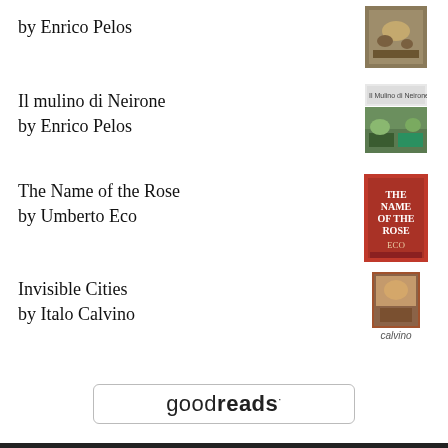by Enrico Pelos
Il mulino di Neirone
by Enrico Pelos
The Name of the Rose
by Umberto Eco
Invisible Cities
by Italo Calvino
[Figure (logo): Goodreads logo button with rounded rectangle border]